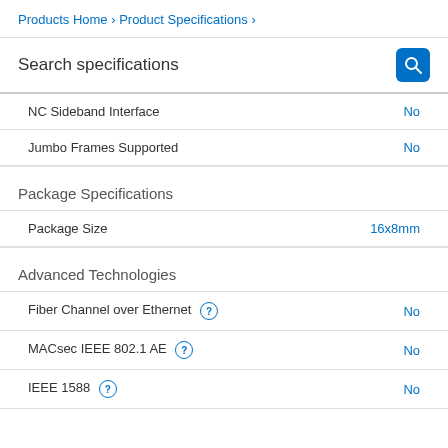Products Home › Product Specifications ›
Search specifications
| Specification | Value |
| --- | --- |
| NC Sideband Interface | No |
| Jumbo Frames Supported | No |
Package Specifications
| Specification | Value |
| --- | --- |
| Package Size | 16x8mm |
Advanced Technologies
| Specification | Value |
| --- | --- |
| Fiber Channel over Ethernet | No |
| MACsec IEEE 802.1 AE | No |
| IEEE 1588 | No |